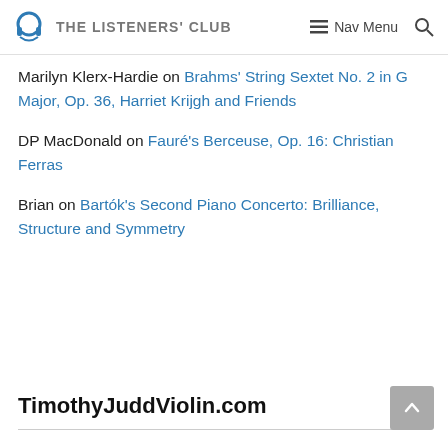THE LISTENERS' CLUB | Nav Menu
Marilyn Klerx-Hardie on Brahms' String Sextet No. 2 in G Major, Op. 36, Harriet Krijgh and Friends
DP MacDonald on Fauré's Berceuse, Op. 16: Christian Ferras
Brian on Bartók's Second Piano Concerto: Brilliance, Structure and Symmetry
TimothyJuddViolin.com